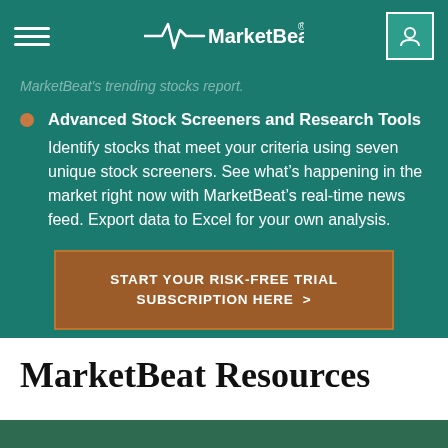MarketBeat
MarketBeat's trending stocks report.
Advanced Stock Screeners and Research Tools — Identify stocks that meet your criteria using seven unique stock screeners. See what's happening in the market right now with MarketBeat's real-time news feed. Export data to Excel for your own analysis.
START YOUR RISK-FREE TRIAL SUBSCRIPTION HERE >
MarketBeat Resources